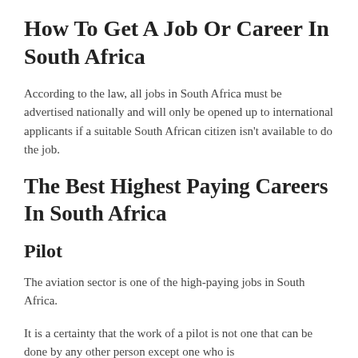How To Get A Job Or Career In South Africa
According to the law, all jobs in South Africa must be advertised nationally and will only be opened up to international applicants if a suitable South African citizen isn't available to do the job.
The Best Highest Paying Careers In South Africa
Pilot
The aviation sector is one of the high-paying jobs in South Africa.
It is a certainty that the work of a pilot is not one that can be done by any other person except one who is